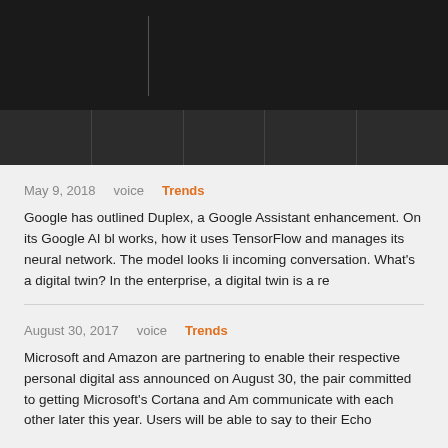[Figure (screenshot): Dark header navigation bar of a website with black background and a cursor/caret visible]
May 9, 2018    voice    Trends
Google has outlined Duplex, a Google Assistant enhancement. On its Google AI bl works, how it uses TensorFlow and manages its neural network. The model looks li incoming conversation. What's a digital twin? In the enterprise, a digital twin is a re
August 30, 2017    voice    Trends
Microsoft and Amazon are partnering to enable their respective personal digital ass announced on August 30, the pair committed to getting Microsoft's Cortana and Am communicate with each other later this year. Users will be able to say to their Echo